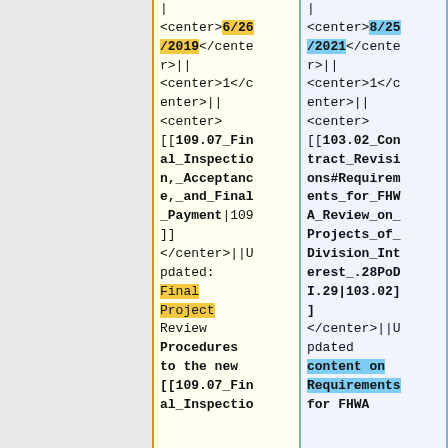| <center>6/26/2019</center>|| <center>1</center>|| <center>[[109.07_Final_Inspection,_Acceptance,_and_Final_Payment|109]]</center>||Updated: Final Project Review Procedures to the new [[109.07_Final_Inspectio
| <center>8/25/2021</center>|| <center>1</center>|| <center>[[103.02_Contract_Revisions#Requirements_for_FHWA_Review_on_Projects_of_Division_Interest_.28PoD I.29|103.02]]</center>||Updated content on Requirements for FHWA